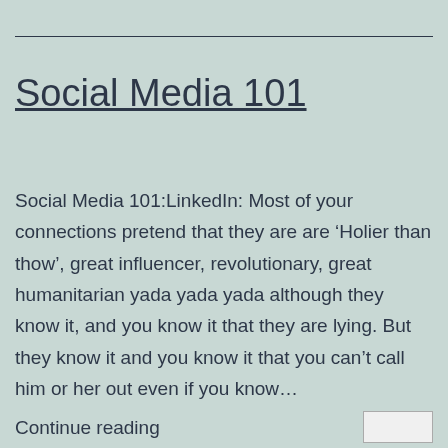Social Media 101
Social Media 101:LinkedIn: Most of your connections pretend that they are are ‘Holier than thow’, great influencer, revolutionary, great humanitarian yada yada yada although they know it, and you know it that they are lying. But they know it and you know it that you can’t call him or her out even if you know…
Continue reading